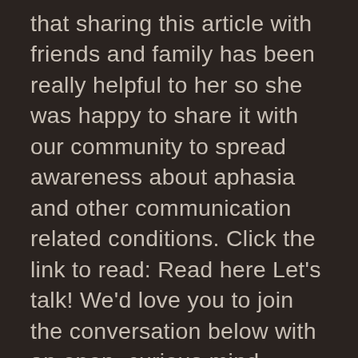that sharing this article with friends and family has been really helpful to her so she was happy to share it with our community to spread awareness about aphasia and other communication related conditions. Click the link to read: Read here Let's talk! We'd love you to join the conversation below with an open, curious mind - seeking to understand other perspectives, and to share your own - as we bring our community together. Please keep your comments in line with our Lively Community Code :) On March 31st Lively was invited by Darebin City Council to attend the LGPro Active Ageing and Wellbeing Awards for outstanding contributions by local governments in the areas of active ageing and wellbeing. We were thrilled that Lively's